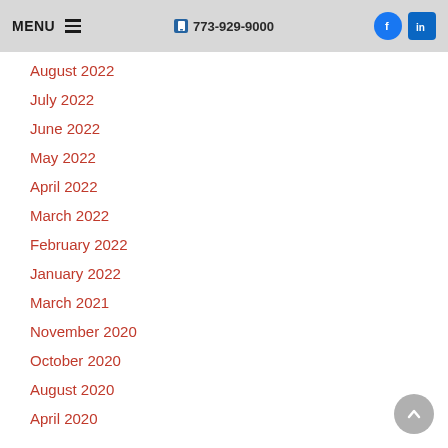MENU  773-929-9000
August 2022
July 2022
June 2022
May 2022
April 2022
March 2022
February 2022
January 2022
March 2021
November 2020
October 2020
August 2020
April 2020